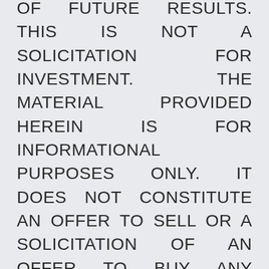OF FUTURE RESULTS. THIS IS NOT A SOLICITATION FOR INVESTMENT. THE MATERIAL PROVIDED HEREIN IS FOR INFORMATIONAL PURPOSES ONLY. IT DOES NOT CONSTITUTE AN OFFER TO SELL OR A SOLICITATION OF AN OFFER TO BUY ANY INTERESTS OF ANY FUND OR ANY OTHER SECURITIES. ANY SUCH OFFERINGS CAN BE MADE ONLY IN ACCORDANCE WITH THE TERMS AND CONDITIONS SET FORTH IN THE INVESTMENT'S PRIVATE PLACEMENT MEMORANDUM. PRIOR TO INVESTING, INVESTORS ARE STRONGLY URGED TO REVIEW CAREFULLY THE PRIVATE PLACEMENT MEMORANDUM (INCLUDING THE RISK FACTORS